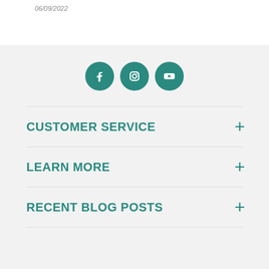06/09/2022
[Figure (illustration): Three teal social media icons: Facebook, Instagram, YouTube]
CUSTOMER SERVICE
LEARN MORE
RECENT BLOG POSTS